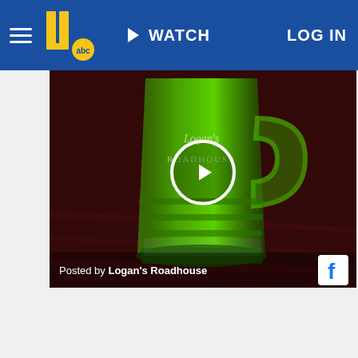WATCH | LOG IN
[Figure (screenshot): A green beer in a Logan's Roadhouse branded glass mug, photographed on a dark wood table. A circular play button overlay is centered on the image. At the bottom, text reads 'Posted by Logan's Roadhouse' with a Facebook icon.]